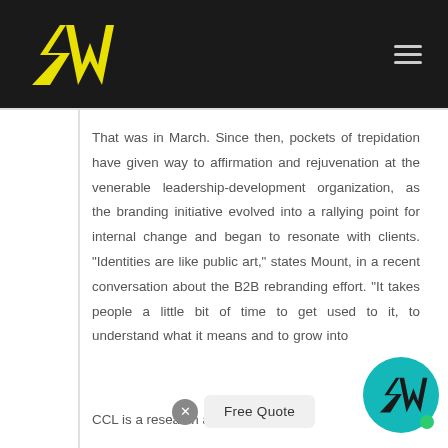SW logo and navigation header
That was in March. Since then, pockets of trepidation have given way to affirmation and rejuvenation at the venerable leadership-development organization, as the branding initiative evolved into a rallying point for internal change and began to resonate with clients. “Identities are like public art,” states Mount, in a recent conversation about the B2B rebranding effort. “It takes people a little bit of time to get used to it, to understand what it means and to grow into
CCL is a research and client-services
[Figure (logo): Free Quote button with close X and circular SW logo badge]